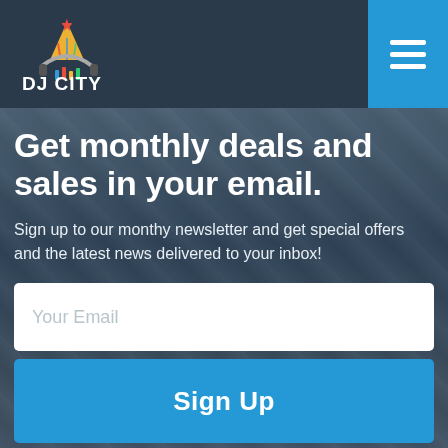[Figure (logo): DJ City logo with colorful party/DJ icon and 'DJ CITY' text in white]
Get monthly deals and sales in your email.
Sign up to our monthy newsletter and get special offers and the latest news delivered to your inbox!
Your Email
Sign Up
We don't send spam, ever.